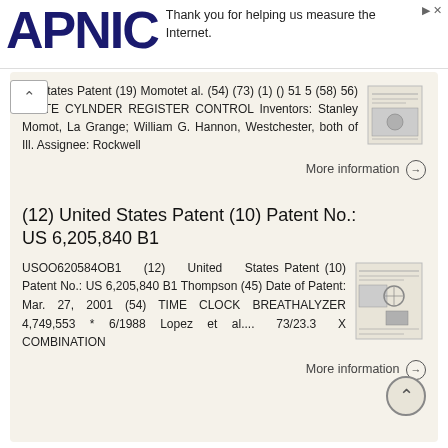[Figure (logo): APNIC logo in dark navy blue large bold text]
Thank you for helping us measure the Internet.
ed States Patent (19) Momotet al. (54) (73) (1) () 51 5 (58) 56) PLATE CYLNDER REGISTER CONTROL Inventors: Stanley Momot, La Grange; William G. Hannon, Westchester, both of Ill. Assignee: Rockwell
More information →
(12) United States Patent (10) Patent No.: US 6,205,840 B1
USOO6205840B1 (12) United States Patent (10) Patent No.: US 6,205,840 B1 Thompson (45) Date of Patent: Mar. 27, 2001 (54) TIME CLOCK BREATHALYZER 4,749,553 * 6/1988 Lopez et al.... 73/23.3 X COMBINATION
More information →